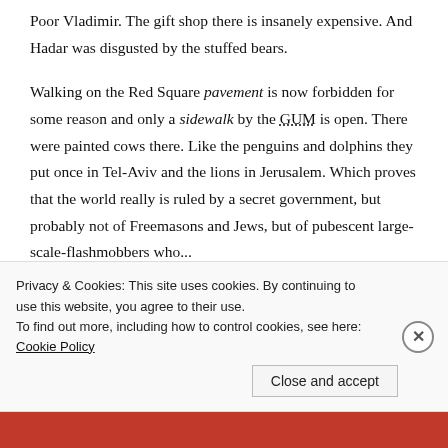Poor Vladimir. The gift shop there is insanely expensive. And Hadar was disgusted by the stuffed bears.

Walking on the Red Square pavement is now forbidden for some reason and only a sidewalk by the GUM is open. There were painted cows there. Like the penguins and dolphins they put once in Tel-Aviv and the lions in Jerusalem. Which proves that the world really is ruled by a secret government, but probably not of Freemasons and Jews, but of pubescent large-scale-flashmobbers who...
Privacy & Cookies: This site uses cookies. By continuing to use this website, you agree to their use.
To find out more, including how to control cookies, see here: Cookie Policy

Close and accept